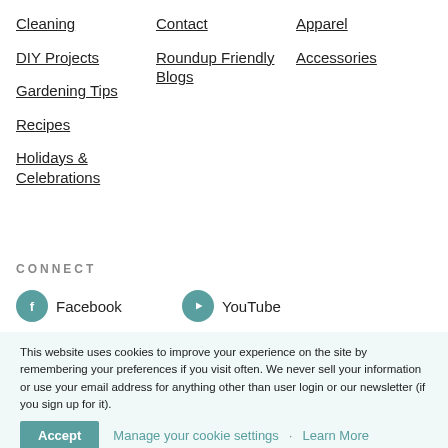Cleaning
DIY Projects
Gardening Tips
Recipes
Holidays & Celebrations
Contact
Roundup Friendly Blogs
Apparel
Accessories
CONNECT
Facebook
YouTube
This website uses cookies to improve your experience on the site by remembering your preferences if you visit often. We never sell your information or use your email address for anything other than user login or our newsletter (if you sign up for it).
Accept   Manage your cookie settings   Learn More